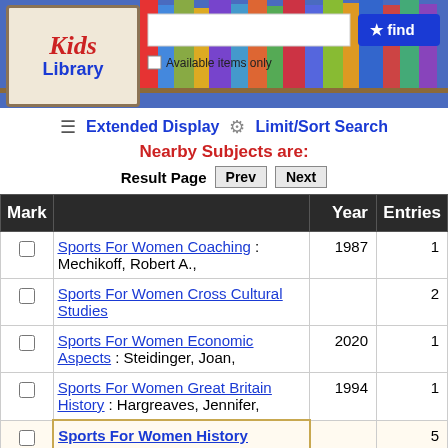[Figure (screenshot): Kids Library website header with logo showing 'Kids Library' text on book image, a search input bar, a blue 'find' button with star icon, colorful books background, and 'Available items only' checkbox]
Extended Display  Limit/Sort Search
Nearby Subjects are:
Result Page  Prev  Next
| Mark |  | Year | Entries |
| --- | --- | --- | --- |
| ☐ | Sports For Women Coaching : Mechikoff, Robert A., | 1987 | 1 |
| ☐ | Sports For Women Cross Cultural Studies |  | 2 |
| ☐ | Sports For Women Economic Aspects : Steidinger, Joan, | 2020 | 1 |
| ☐ | Sports For Women Great Britain History : Hargreaves, Jennifer, | 1994 | 1 |
| ☐ | Sports For Women History |  | 5 |
| ☐ | Sports For Women Islamic Countries | 2010 | 1 |